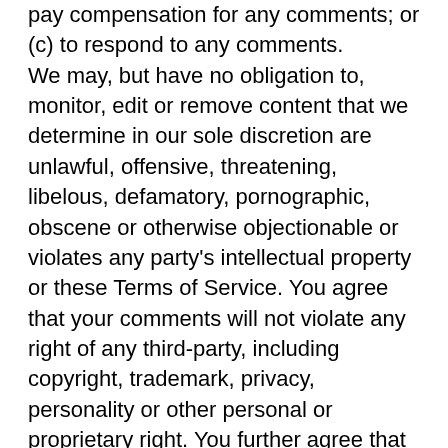pay compensation for any comments; or (c) to respond to any comments. We may, but have no obligation to, monitor, edit or remove content that we determine in our sole discretion are unlawful, offensive, threatening, libelous, defamatory, pornographic, obscene or otherwise objectionable or violates any party's intellectual property or these Terms of Service. You agree that your comments will not violate any right of any third-party, including copyright, trademark, privacy, personality or other personal or proprietary right. You further agree that your comments will not contain libelous or otherwise unlawful, abusive or obscene material, or contain any computer virus or other malware that could in any way affect the operation of the Service or any related website. You may not use a false e-mail address, pretend to be someone other than yourself, or otherwise mislead us or third-parties as to the origin of any comments. You are solely responsible for any comments you make and their accuracy.